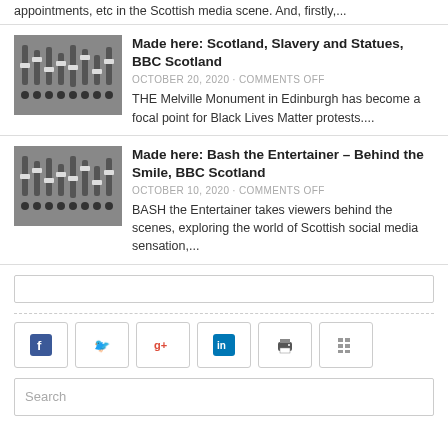appointments, etc in the Scottish media scene. And, firstly,...
Made here: Scotland, Slavery and Statues, BBC Scotland
OCTOBER 20, 2020 · COMMENTS OFF
THE Melville Monument in Edinburgh has become a focal point for Black Lives Matter protests....
Made here: Bash the Entertainer – Behind the Smile, BBC Scotland
OCTOBER 10, 2020 · COMMENTS OFF
BASH the Entertainer takes viewers behind the scenes, exploring the world of Scottish social media sensation,...
[Figure (other): Search bar (top)]
[Figure (other): Social share buttons: Facebook, Twitter, Google+, LinkedIn, Print, Other]
[Figure (other): Search input box with placeholder text 'Search']